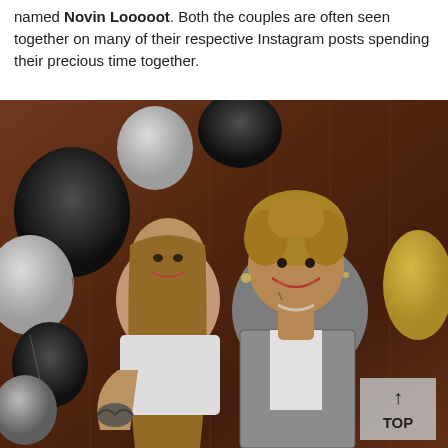named [name redacted]. Both the couples are often seen together on many of their respective Instagram posts spending their precious time together.
[Figure (photo): A smiling couple posing together in front of black, white, and gold balloons against a dark wooden background. The woman is on the left with long hair and a tattoo on her arm, wearing a white outfit. The man is on the right with curly hair, wearing a houndstooth blazer over a white shirt, with a necklace and neck tattoos. A 'TOP' button is visible in the bottom right corner.]